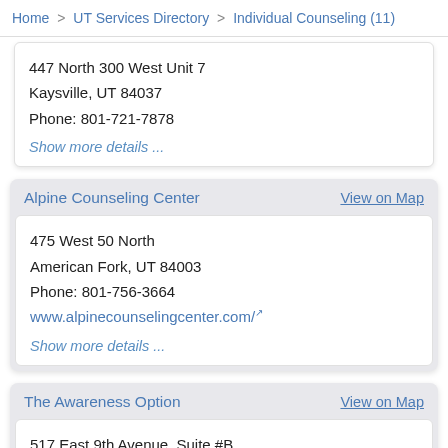Home > UT Services Directory > Individual Counseling (11)
447 North 300 West Unit 7
Kaysville, UT 84037
Phone: 801-721-7878
Show more details ...
Alpine Counseling Center
View on Map
475 West 50 North
American Fork, UT 84003
Phone: 801-756-3664
www.alpinecounselingcenter.com/
Show more details ...
The Awareness Option
View on Map
517 East 9th Avenue, Suite #B